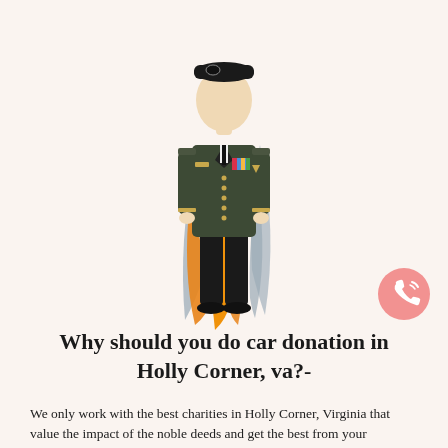[Figure (illustration): Illustration of a military soldier in dark dress uniform with medals, standing in front of stylized orange and gray flame/leaf shapes on a light pink/cream background. A pink circular phone icon button is in the lower right area of the illustration.]
Why should you do car donation in Holly Corner, va?-
We only work with the best charities in Holly Corner, Virginia that value the impact of the noble deeds and get the best from your contribution. Your handout for